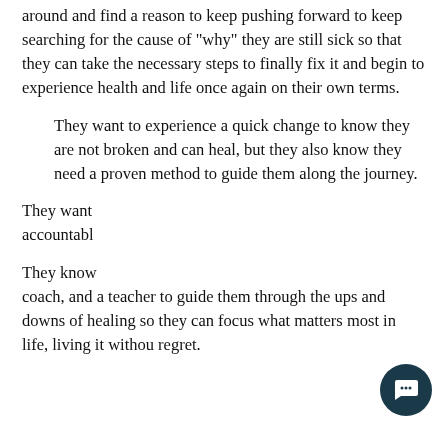around and find a reason to keep pushing forward to keep searching for the cause of "why" they are still sick so that they can take the necessary steps to finally fix it and begin to experience health and life once again on their own terms.
They want to experience a quick change to know they are not broken and can heal, but they also know they need a proven method to guide them along the journey.
They want [accountability]
They know [a coach, and a teacher to guide them through the ups and downs of healing so they can focus what matters most in life, living it without regret.
[Figure (screenshot): Chat popup overlay with avatar of Dr. Justin, close button, and message: Hey it's Dr Justin here, Do you have a question? Ask It here!]